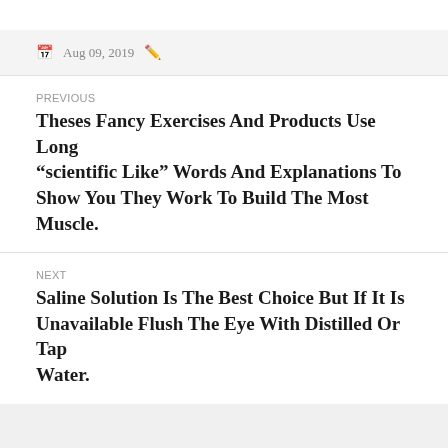Aug 09, 2019
PREVIOUS
Theses Fancy Exercises And Products Use Long “scientific Like” Words And Explanations To Show You They Work To Build The Most Muscle.
NEXT
Saline Solution Is The Best Choice But If It Is Unavailable Flush The Eye With Distilled Or Tap Water.
Copyright © 2016 Laura William’s Musings All rights reserved.